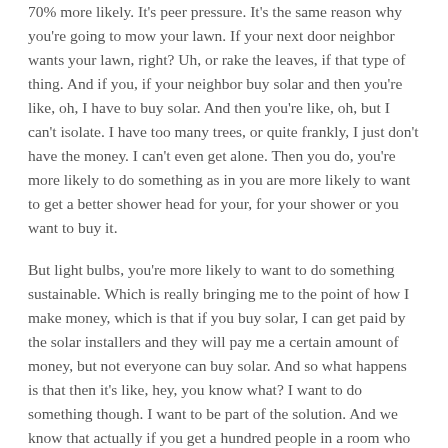70% more likely. It's peer pressure. It's the same reason why you're going to mow your lawn. If your next door neighbor wants your lawn, right? Uh, or rake the leaves, if that type of thing. And if you, if your neighbor buy solar and then you're like, oh, I have to buy solar. And then you're like, oh, but I can't isolate. I have too many trees, or quite frankly, I just don't have the money. I can't even get alone. Then you do, you're more likely to do something as in you are more likely to want to get a better shower head for your, for your shower or you want to buy it.
But light bulbs, you're more likely to want to do something sustainable. Which is really bringing me to the point of how I make money, which is that if you buy solar, I can get paid by the solar installers and they will pay me a certain amount of money, but not everyone can buy solar. And so what happens is that then it's like, hey, you know what? I want to do something though. I want to be part of the solution. And we know that actually if you get a hundred people in a room who want to buy solar, only 20% of the 20 20th I'm actually really 10 by solar. And